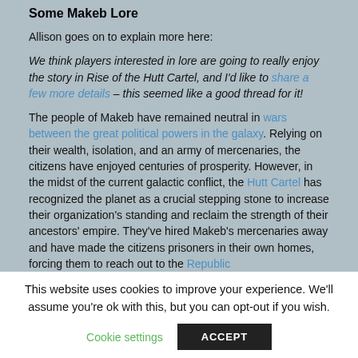Some Makeb Lore
Allison goes on to explain more here:
We think players interested in lore are going to really enjoy the story in Rise of the Hutt Cartel, and I'd like to share a few more details – this seemed like a good thread for it!
The people of Makeb have remained neutral in wars between the great political powers in the galaxy. Relying on their wealth, isolation, and an army of mercenaries, the citizens have enjoyed centuries of prosperity. However, in the midst of the current galactic conflict, the Hutt Cartel has recognized the planet as a crucial stepping stone to increase their organization's standing and reclaim the strength of their ancestors' empire. They've hired Makeb's mercenaries away and have made the citizens prisoners in their own homes, forcing them to reach out to the Republic
This website uses cookies to improve your experience. We'll assume you're ok with this, but you can opt-out if you wish.
Cookie settings
ACCEPT